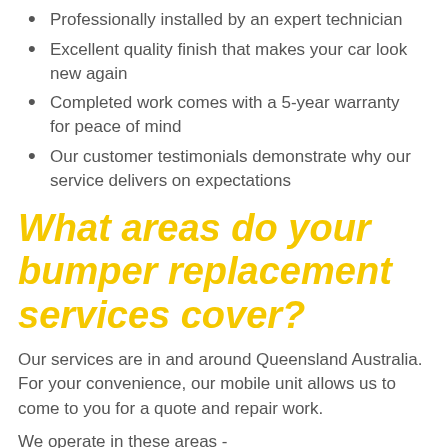Professionally installed by an expert technician
Excellent quality finish that makes your car look new again
Completed work comes with a 5-year warranty for peace of mind
Our customer testimonials demonstrate why our service delivers on expectations
What areas do your bumper replacement services cover?
Our services are in and around Queensland Australia. For your convenience, our mobile unit allows us to come to you for a quote and repair work.
We operate in these areas -
Brisbane Central